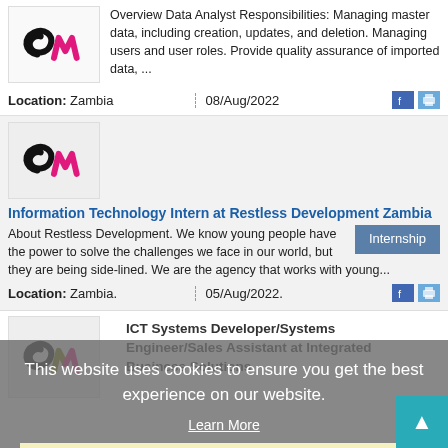[Figure (logo): Restless Development Zambia logo - black and pink stylized letters]
Overview Data Analyst Responsibilities: Managing master data, including creation, updates, and deletion. Managing users and user roles. Provide quality assurance of imported data, ...
Location: Zambia    08/Aug/2022
[Figure (logo): Restless Development Zambia logo - black and pink stylized letters]
Information Technology Intern at Restless Development Zambia
About Restless Development. We know young people have the power to solve the challenges we face in our world, but they are being side-lined. We are the agency that works with young...
Location: Zambia.    05/Aug/2022.
[Figure (logo): Integrated Business Solutions logo]
ICT Systems Developer/Systems Engineer/Sales Assistant at Integrated Business Solutions
This website uses cookies to ensure you get the best experience on our website.
Learn More
Got it!